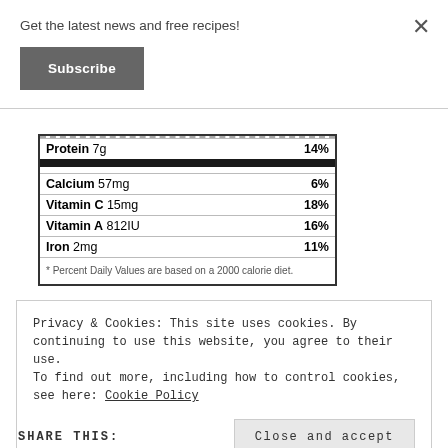Get the latest news and free recipes!
Subscribe
| Nutrient | % Daily Value |
| --- | --- |
| Protein 7g | 14% |
| Calcium 57mg | 6% |
| Vitamin C 15mg | 18% |
| Vitamin A 812IU | 16% |
| Iron 2mg | 11% |
* Percent Daily Values are based on a 2000 calorie diet.
Privacy & Cookies: This site uses cookies. By continuing to use this website, you agree to their use.
To find out more, including how to control cookies, see here: Cookie Policy
Close and accept
SHARE THIS: